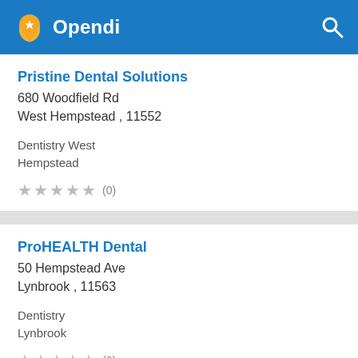Opendi
Pristine Dental Solutions
680 Woodfield Rd
West Hempstead , 11552

Dentistry West Hempstead
★★★★★ (0)
ProHEALTH Dental
50 Hempstead Ave
Lynbrook , 11563

Dentistry
Lynbrook
★★★★★ (0)
ProHEALTH Dental